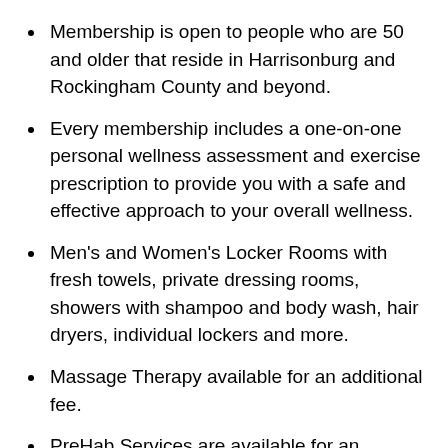Membership is open to people who are 50 and older that reside in Harrisonburg and Rockingham County and beyond.
Every membership includes a one-on-one personal wellness assessment and exercise prescription to provide you with a safe and effective approach to your overall wellness.
Men's and Women's Locker Rooms with fresh towels, private dressing rooms, showers with shampoo and body wash, hair dryers, individual lockers and more.
Massage Therapy available for an additional fee.
PreHab Services are available for an additional, discounted fee.